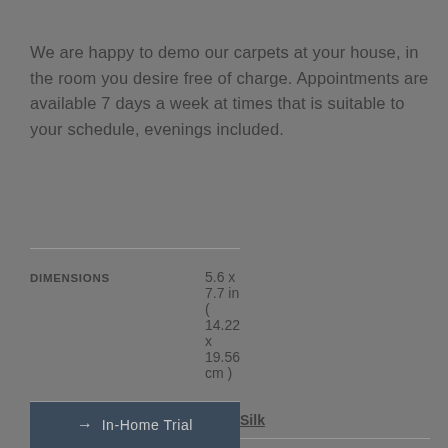We are happy to demo our carpets at your house, in the room you desire free of charge. Appointments are available 7 days a week at times that is suitable to your schedule, evenings included.
| Property | Value |
| --- | --- |
| DIMENSIONS | 5.6 x 7.7 in ( 14.22 x 19.56 cm ) |
| MATERIAL | Silk |
| CONSTRUCTION | Hand Knotted |
| SKU | #PE712 |